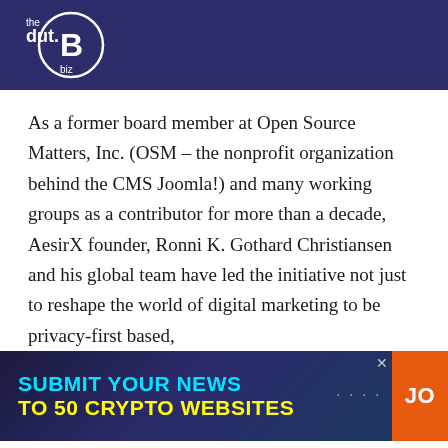[Figure (logo): the dut.B biz logo — circular bitcoin B icon with text 'the dut.B biz' on dark navy background]
As a former board member at Open Source Matters, Inc. (OSM – the nonprofit organization behind the CMS Joomla!) and many working groups as a contributor for more than a decade, AesirX founder, Ronni K. Gothard Christiansen and his global team have led the initiative not just to reshape the world of digital marketing to be privacy-first based,
[Figure (infographic): Advertisement banner: SUBMIT YOUR NEWS TO 50 CRYPTO WEBSITES with an orange JOIN button on the right and a close X button]
“In the past decade, we have invented and